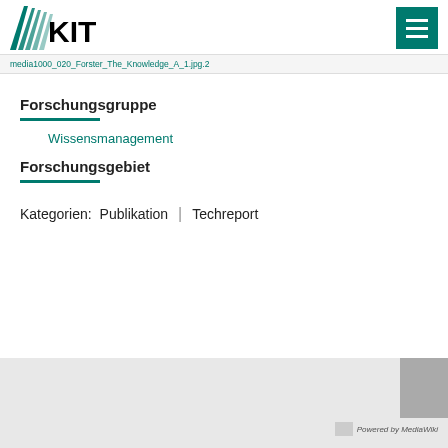KIT logo and navigation header
media1000_020_Forster_The_Knowledge_A_1.jpg.2
Forschungsgruppe
Wissensmanagement
Forschungsgebiet
Kategorien:   Publikation  |  Techreport
Powered by MediaWiki